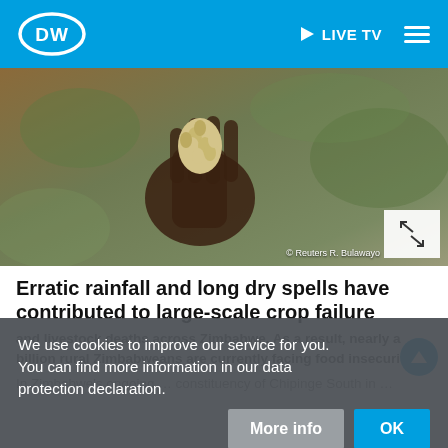DW — LIVE TV
[Figure (photo): Close-up of a hand holding small withered maize/corn kernels, with blurred green background. Photo credit: © Reuters R. Bulawayo]
Erratic rainfall and long dry spells have contributed to large-scale crop failure
and livestock deaths across Zimbabwe. As a result, nearly a billion rural Zimbabweans are currently facing food insecurity.
In Zimbabwe's ongoing … constituency of Chipinge South in …
We use cookies to improve our service for you. You can find more information in our data protection declaration.
More info | OK